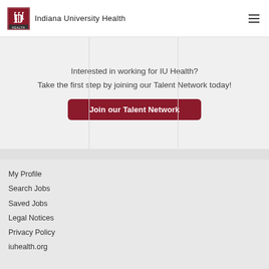Indiana University Health
Interested in working for IU Health?
Take the first step by joining our Talent Network today!
Join our Talent Network
My Profile
Search Jobs
Saved Jobs
Legal Notices
Privacy Policy
iuhealth.org